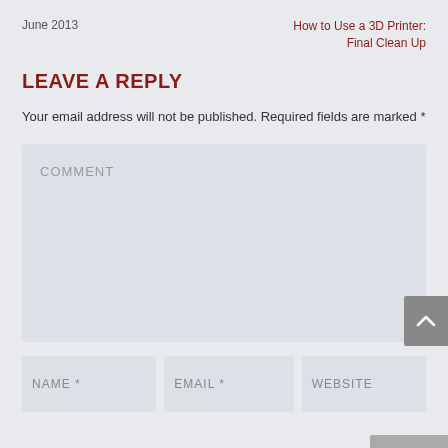June 2013
How to Use a 3D Printer:
Final Clean Up
LEAVE A REPLY
Your email address will not be published. Required fields are marked *
[Figure (other): Comment text area input field with placeholder text 'COMMENT' and a resize handle in the bottom right corner]
[Figure (other): Three input fields labeled NAME *, EMAIL *, and WEBSITE]
[Figure (other): Scroll-to-top button with upward chevron arrow on the right edge of the page]